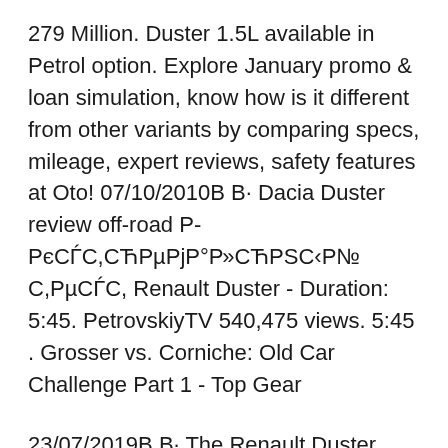279 Million. Duster 1.5L available in Petrol option. Explore January promo & loan simulation, know how is it different from other variants by comparing specs, mileage, expert reviews, safety features at Oto! 07/10/2010В В· Dacia Duster review off-road Р-РєСЃС,СЋРµРjР°Р»СЋРSС‹Р№ С,РµСЃС, Renault Duster - Duration: 5:45. PetrovskiyTV 540,475 views. 5:45 . Grosser vs. Corniche: Old Car Challenge Part 1 - Top Gear
23/07/2019В В· The Renault Duster gets another big facelift for 2019 to keep the sales going till the 3rd generation Duster comes to India by 2021. Is it a case of too little too late? Or will the